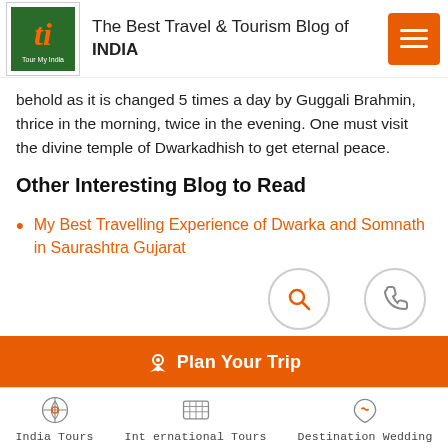The Best Travel & Tourism Blog of INDIA
behold as it is changed 5 times a day by Guggali Brahmin, thrice in the morning, twice in the evening. One must visit the divine temple of Dwarkadhish to get eternal peace.
Other Interesting Blog to Read
My Best Travelling Experience of Dwarka and Somnath in Saurashtra Gujarat
Plan Your Trip
India Tours   International Tours   Destination Wedding